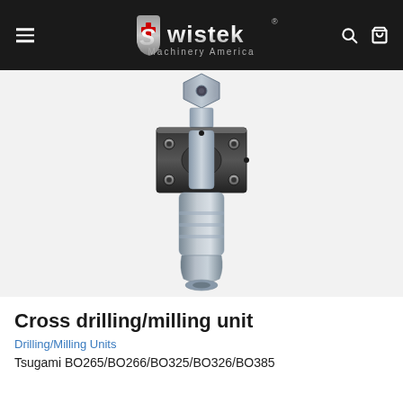Swistek Machinery America
[Figure (photo): 3D render of a cross drilling/milling unit — a cylindrical metallic tool holder with a square mounting flange on top, shown in silver and dark gray/black. The unit has a hexagonal nut connector at the top and a cylindrical body below.]
Cross drilling/milling unit
Drilling/Milling Units
Tsugami BO265/BO266/BO325/BO326/BO385